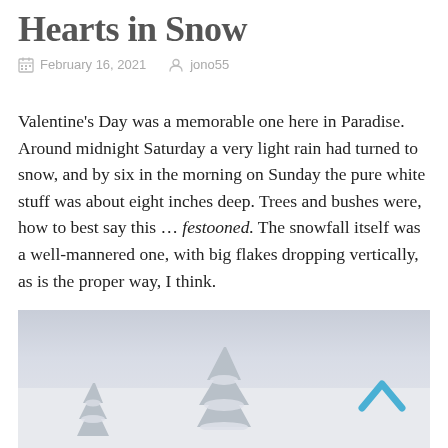Hearts in Snow
February 16, 2021   jono55
Valentine's Day was a memorable one here in Paradise. Around midnight Saturday a very light rain had turned to snow, and by six in the morning on Sunday the pure white stuff was about eight inches deep. Trees and bushes were, how to best say this … festooned. The snowfall itself was a well-mannered one, with big flakes dropping vertically, as is the proper way, I think.
[Figure (photo): Snowy winter landscape with snow-covered evergreen trees against a pale grey sky, viewed from a distance. A chevron/up-arrow navigation icon in blue is overlaid on the upper right of the image.]